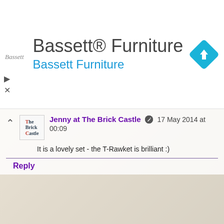[Figure (screenshot): Bassett Furniture ad banner with logo text 'Bassett', main title 'Bassett® Furniture', subtitle 'Bassett Furniture' in blue, and a blue diamond navigation icon on the right.]
Jenny at The Brick Castle  17 May 2014 at 00:09
It is a lovely set - the T-Rawket is brilliant :)
Reply
Anonymous  20 May 2014 at 13:33
MY SON WOULD LOVE THIS!
@LSULLYSULLIVAN
Reply
▾ Replies